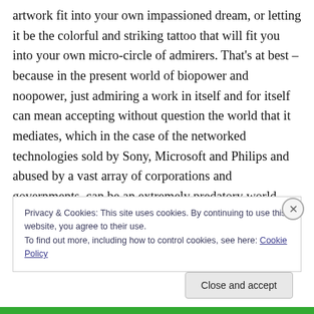artwork fit into your own impassioned dream, or letting it be the colorful and striking tattoo that will fit you into your own micro-circle of admirers. That's at best – because in the present world of biopower and noopower, just admiring a work in itself and for itself can mean accepting without question the world that it mediates, which in the case of the networked technologies sold by Sony, Microsoft and Philips and abused by a vast array of corporations and governments, can be an extremely predatory world, configured precisely in order to capture your consciousness and extract some value or utility out of your
Privacy & Cookies: This site uses cookies. By continuing to use this website, you agree to their use.
To find out more, including how to control cookies, see here: Cookie Policy